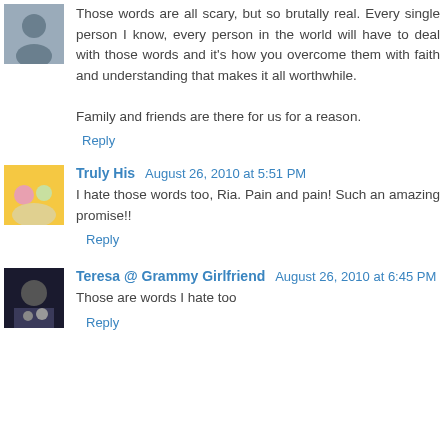Those words are all scary, but so brutally real. Every single person I know, every person in the world will have to deal with those words and it's how you overcome them with faith and understanding that makes it all worthwhile.

Family and friends are there for us for a reason.
Reply
Truly His  August 26, 2010 at 5:51 PM
I hate those words too, Ria. Pain and pain! Such an amazing promise!!
Reply
Teresa @ Grammy Girlfriend  August 26, 2010 at 6:45 PM
Those are words I hate too
Reply